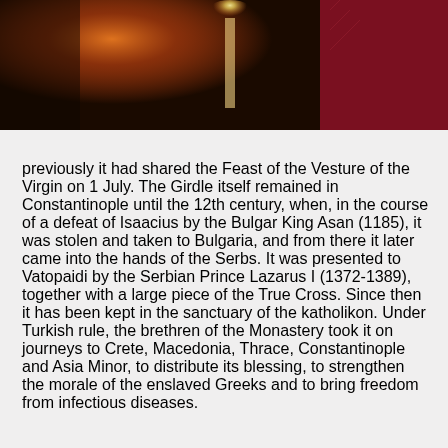[Figure (photo): Header image showing candlelight and religious artifacts in dark warm tones with a dark red banner on the right side containing a hamburger menu icon]
previously it had shared the Feast of the Vesture of the Virgin on 1 July. The Girdle itself remained in Constantinople until the 12th century, when, in the course of a defeat of Isaacius by the Bulgar King Asan (1185), it was stolen and taken to Bulgaria, and from there it later came into the hands of the Serbs. It was presented to Vatopaidi by the Serbian Prince Lazarus I (1372-1389), together with a large piece of the True Cross. Since then it has been kept in the sanctuary of the katholikon. Under Turkish rule, the brethren of the Monastery took it on journeys to Crete, Macedonia, Thrace, Constantinople and Asia Minor, to distribute its blessing, to strengthen the morale of the enslaved Greeks and to bring freedom from infectious diseases.